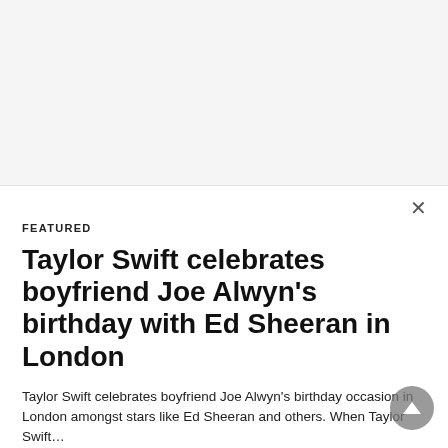[Figure (screenshot): Gray/white advertisement or content area at the top of the page]
[Figure (other): Close (X) button in top right area]
FEATURED
Taylor Swift celebrates boyfriend Joe Alwyn's birthday with Ed Sheeran in London
Taylor Swift celebrates boyfriend Joe Alwyn's birthday occasion in London amongst stars like Ed Sheeran and others. When Taylor Swift…
2 years ago